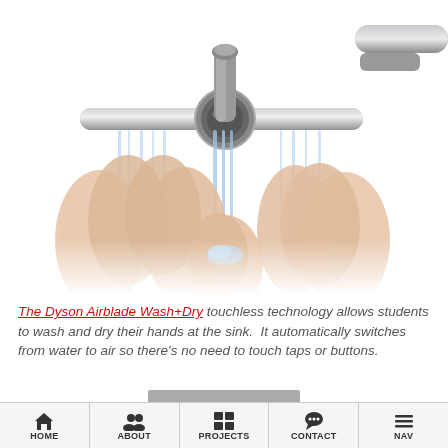[Figure (photo): Product photo of Dyson Airblade Wash+Dry faucet with two pairs of hands underneath catching water streams from the touchless tap fixture. The tap is metallic/chrome and positioned at top center. A second faucet is partially visible at top right.]
The Dyson Airblade Wash+Dry touchless technology allows students to wash and dry their hands at the sink.  It automatically switches from water to air so there's no need to touch taps or buttons.
HOME | ABOUT | PROJECTS | CONTACT | NAV